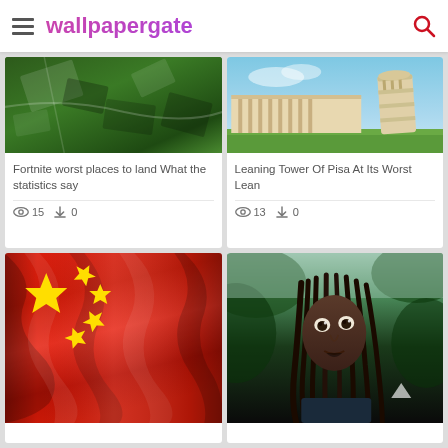wallpapergate
[Figure (photo): Aerial view of Fortnite map green terrain with card shapes]
Fortnite worst places to land What the statistics say
15  0
[Figure (photo): Leaning Tower of Pisa against blue sky with green lawn]
Leaning Tower Of Pisa At Its Worst Lean
13  0
[Figure (photo): Chinese national flag red with yellow stars, draped fabric]
[Figure (photo): Young person with dreadlocks in dark jungle setting looking up]